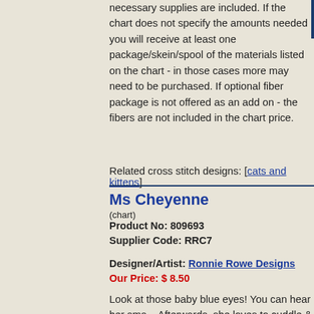necessary supplies are included. If the chart does not specify the amounts needed you will receive at least one package/skein/spool of the materials listed on the chart - in those cases more may need to be purchased. If optional fiber package is not offered as an add on - the fibers are not included in the chart price.
Related cross stitch designs: [cats and kittens]
Ms Cheyenne
(chart)
Product No: 809693
Supplier Code: RRC7
Designer/Artist: Ronnie Rowe Designs
Our Price: $ 8.50
Look at those baby blue eyes! You can hear her sma... Afterwards, she loves to cuddle & give kitty cat kis...
[Figure (illustration): Cross stitch design image showing 'Here Kitty Kitty' text in decorative script inside a bordered frame]